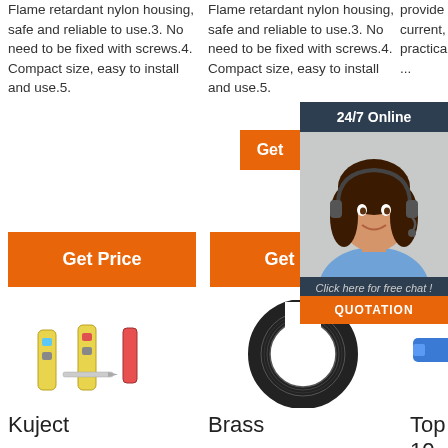Flame retardant nylon housing, safe and reliable to use.3. No need to be fixed with screws.4. Compact size, easy to install and use.5.
Flame retardant nylon housing, safe and reliable to use.3. No need to be fixed with screws.4. Compact size, easy to install and use.5.
provide maximum current, which is practical.2. Closed ...
[Figure (infographic): 24/7 Online chat widget with woman wearing headset, Get button, Click here for free chat! text and QUOTATION button]
[Figure (photo): Orange button: Get Price]
[Figure (photo): Orange button: Get Price]
[Figure (photo): Kuject product - wire connectors assorted tubes]
[Figure (photo): Brass product - black corrugated hose ring]
[Figure (photo): Top 10 product - blue wire terminal with TOP badge]
Kuject
Brass
Top 10